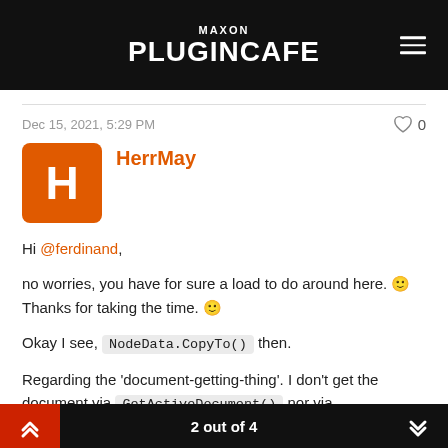MAXON PLUGINCAFE
Dec 15, 2021, 5:29 PM
HerrMay
Hi @ferdinand,

no worries, you have for sure a load to do around here. 🙂 Thanks for taking the time. 🙂

Okay I see, NodeData.CopyTo() then.

Regarding the 'document-getting-thing'. I don't get the document via GetActiveDocument() nor via
2 out of 4